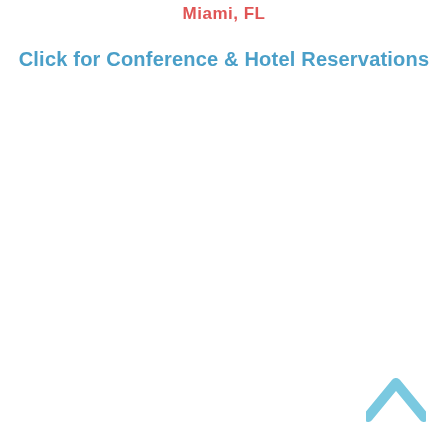Miami, FL
Click for Conference & Hotel Reservations
[Figure (illustration): Light blue upward-pointing chevron/caret arrow icon in the bottom-right corner]